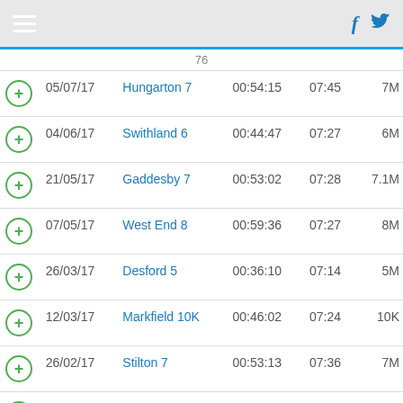hamburger menu, Facebook and Twitter icons
|  | Date | Race | Time | Pace | Dist |
| --- | --- | --- | --- | --- | --- |
|  | 05/07/17 | Hungarton 7 | 00:54:15 | 07:45 | 7M |
|  | 04/06/17 | Swithland 6 | 00:44:47 | 07:27 | 6M |
|  | 21/05/17 | Gaddesby 7 | 00:53:02 | 07:28 | 7.1M |
|  | 07/05/17 | West End 8 | 00:59:36 | 07:27 | 8M |
|  | 26/03/17 | Desford 5 | 00:36:10 | 07:14 | 5M |
|  | 12/03/17 | Markfield 10K | 00:46:02 | 07:24 | 10K |
|  | 26/02/17 | Stilton 7 | 00:53:13 | 07:36 | 7M |
|  | 12/02/17 | Kibworth 6 | 00:44:53 | 07:28 | 6M |
|  | 04/09/16 | John Fraser | 01:16:25 | 07:38 | 10M |